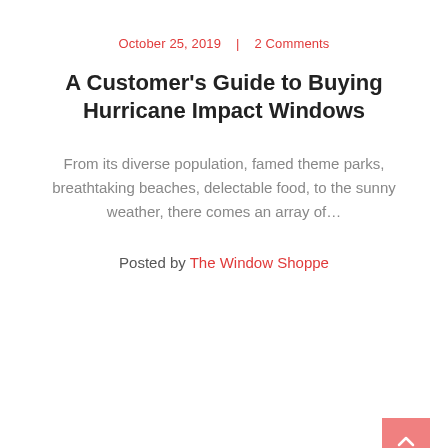October 25, 2019  |  2 Comments
A Customer's Guide to Buying Hurricane Impact Windows
From its diverse population, famed theme parks, breathtaking beaches, delectable food, to the sunny weather, there comes an array of…
Posted by The Window Shoppe